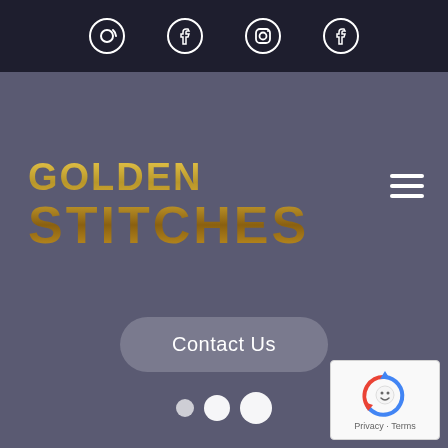[Figure (screenshot): Dark top navigation bar with four social media icons (email, Facebook, Instagram, Facebook) displayed as white circle outline icons]
GOLDEN STITCHES
[Figure (other): Hamburger menu icon (three horizontal white lines) in top right of main area]
Contact Us
[Figure (other): Three white dots indicating a loading or carousel indicator]
[Figure (other): Google reCAPTCHA badge in bottom right corner showing Privacy - Terms]